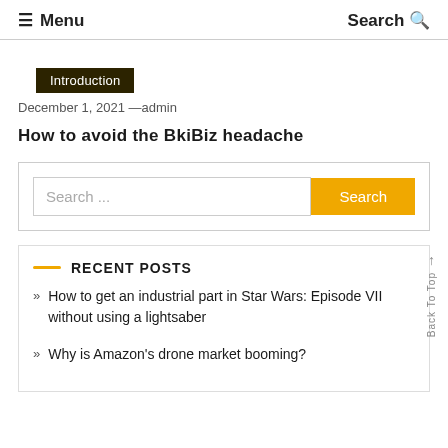≡ Menu   Search Q
Introduction
December 1, 2021 —admin
How to avoid the BkiBiz headache
Search ...
RECENT POSTS
How to get an industrial part in Star Wars: Episode VII without using a lightsaber
Why is Amazon's drone market booming?